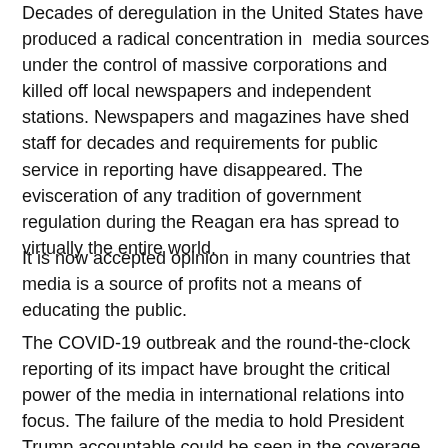Decades of deregulation in the United States have produced a radical concentration in media sources under the control of massive corporations and killed off local newspapers and independent stations. Newspapers and magazines have shed staff for decades and requirements for public service in reporting have disappeared. The evisceration of any tradition of government regulation during the Reagan era has spread to virtually the entire world.
It is now accepted opinion in many countries that media is a source of profits not a means of educating the public.
The COVID-19 outbreak and the round-the-clock reporting of its impact have brought the critical power of the media in international relations into focus. The failure of the media to hold President Trump accountable could be seen in the coverage of the president's press conference in which his declaration of a national state of emergency over the coronavirus concealed a push for the comprehensive privatization of medicine in the United States, including a proposal to replace doctors replaced by Internet “telecare” and to no longer require hospitals to adhere to regulations for a maximum number of